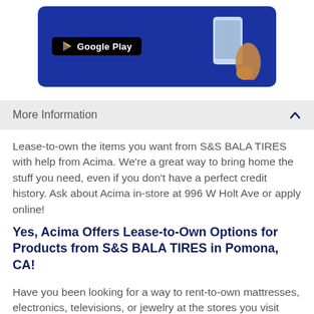[Figure (screenshot): Google Play app store banner on dark blue background with a hand holding a smartphone]
More Information
Lease-to-own the items you want from S&S BALA TIRES with help from Acima. We're a great way to bring home the stuff you need, even if you don't have a perfect credit history. Ask about Acima in-store at 996 W Holt Ave or apply online!
Yes, Acima Offers Lease-to-Own Options for Products from S&S BALA TIRES in Pomona, CA!
Have you been looking for a way to rent-to-own mattresses, electronics, televisions, or jewelry at the stores you visit every day? Does an essential appliance in your home need to be